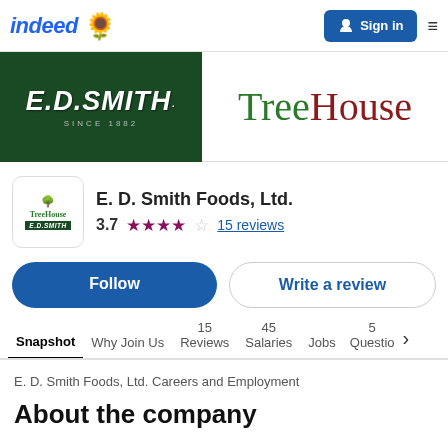indeed | Sign in
[Figure (logo): E.D. Smith since 1882 logo on dark green background, and TreeHouse Foods logo in green and dark red]
[Figure (logo): E. D. Smith Foods, Ltd. company logo thumbnail combining TreeHouse and E.D.Smith logos]
E. D. Smith Foods, Ltd.
3.7 ★★★★☆ 15 reviews
Follow
Write a review
Snapshot | Why Join Us | 15 Reviews | 45 Salaries | Jobs | 5 Questions
E. D. Smith Foods, Ltd. Careers and Employment
About the company